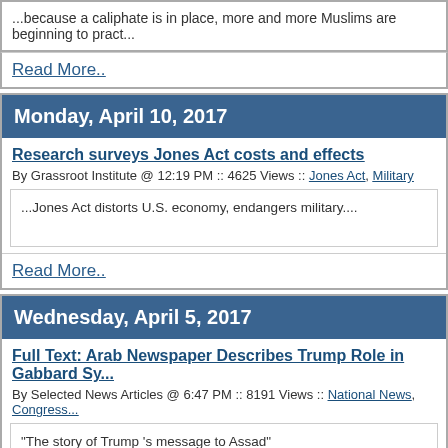...because a caliphate is in place, more and more Muslims are beginning to pract...
Read More..
Monday, April 10, 2017
Research surveys Jones Act costs and effects
By Grassroot Institute @ 12:19 PM :: 4625 Views :: Jones Act, Military
...Jones Act distorts U.S. economy, endangers military....
Read More..
Wednesday, April 5, 2017
Full Text: Arab Newspaper Describes Trump Role in Gabbard Sy...
By Selected News Articles @ 6:47 PM :: 8191 Views :: National News, Congress...
"The story of Trump 's message to Assad"
Read More..